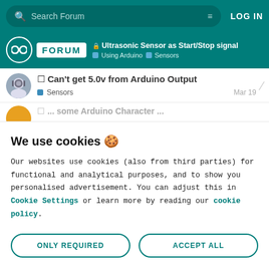Search Forum | LOG IN
Arduino FORUM | 🔒 Ultrasonic Sensor as Start/Stop signal | Using Arduino > Sensors
Can't get 5.0v from Arduino Output | Sensors | Mar 19
We use cookies 🍪
Our websites use cookies (also from third parties) for functional and analytical purposes, and to show you personalised advertisement. You can adjust this in Cookie Settings or learn more by reading our cookie policy.
ONLY REQUIRED | ACCEPT ALL